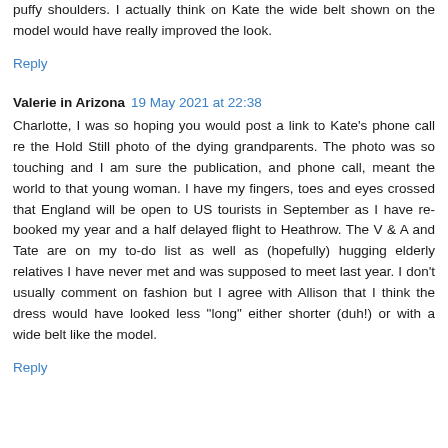puffy shoulders. I actually think on Kate the wide belt shown on the model would have really improved the look.
Reply
Valerie in Arizona  19 May 2021 at 22:38
Charlotte, I was so hoping you would post a link to Kate's phone call re the Hold Still photo of the dying grandparents. The photo was so touching and I am sure the publication, and phone call, meant the world to that young woman. I have my fingers, toes and eyes crossed that England will be open to US tourists in September as I have re-booked my year and a half delayed flight to Heathrow. The V & A and Tate are on my to-do list as well as (hopefully) hugging elderly relatives I have never met and was supposed to meet last year. I don't usually comment on fashion but I agree with Allison that I think the dress would have looked less "long" either shorter (duh!) or with a wide belt like the model.
Reply